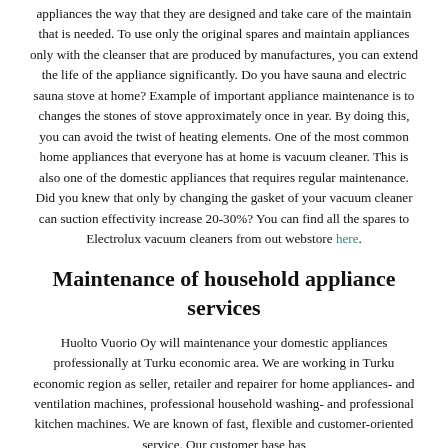appliances the way that they are designed and take care of the maintain that is needed. To use only the original spares and maintain appliances only with the cleanser that are produced by manufactures, you can extend the life of the appliance significantly. Do you have sauna and electric sauna stove at home? Example of important appliance maintenance is to changes the stones of stove approximately once in year. By doing this, you can avoid the twist of heating elements. One of the most common home appliances that everyone has at home is vacuum cleaner. This is also one of the domestic appliances that requires regular maintenance. Did you knew that only by changing the gasket of your vacuum cleaner can suction effectivity increase 20-30%? You can find all the spares to Electrolux vacuum cleaners from out webstore here.
Maintenance of household appliance services
Huolto Vuorio Oy will maintenance your domestic appliances professionally at Turku economic area. We are working in Turku economic region as seller, retailer and repairer for home appliances- and ventilation machines, professional household washing- and professional kitchen machines. We are known of fast, flexible and customer-oriented service. Our customer base has